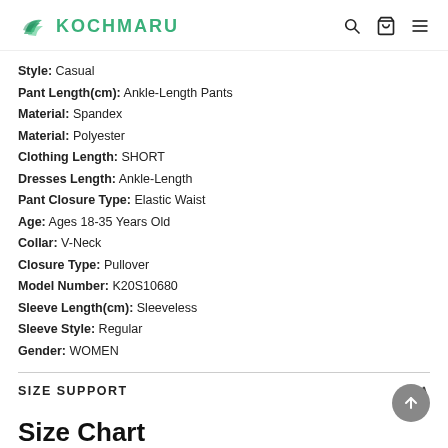KOCHMARU
Style: Casual
Pant Length(cm): Ankle-Length Pants
Material: Spandex
Material: Polyester
Clothing Length: SHORT
Dresses Length: Ankle-Length
Pant Closure Type: Elastic Waist
Age: Ages 18-35 Years Old
Collar: V-Neck
Closure Type: Pullover
Model Number: K20S10680
Sleeve Length(cm): Sleeveless
Sleeve Style: Regular
Gender: WOMEN
SIZE SUPPORT
Size Chart